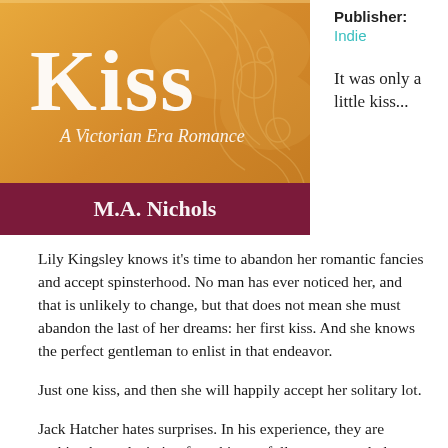[Figure (illustration): Book cover for 'Kiss: A Victorian Era Romance' by M.A. Nichols. Golden/amber colored background with decorative scrollwork. Title 'Kiss' in large white serif font, subtitle 'A Victorian Era Romance' below it, author name 'M.A. Nichols' on a dark crimson/maroon banner at the bottom.]
Publisher:
Indie
It was only a little kiss...
Lily Kingsley knows it's time to abandon her romantic fancies and accept spinsterhood. No man has ever noticed her, and that is unlikely to change, but that does not mean she must abandon the last of her dreams: her first kiss. And she knows the perfect gentleman to enlist in that endeavor.
Just one kiss, and then she will happily accept her solitary lot.
Jack Hatcher hates surprises. In his experience, they are nothing but a deviation from his carefully constructed plans. Structure and order are paramount to success–whether professional or personal–and any unanticipated alteration is an inconvenience at best, a humiliation...